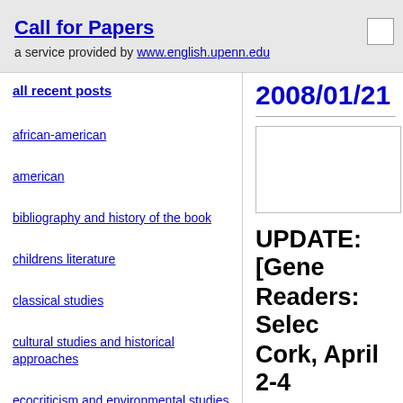Call for Papers
a service provided by www.english.upenn.edu
2008/01/21
all recent posts
african-american
american
bibliography and history of the book
childrens literature
classical studies
cultural studies and historical approaches
ecocriticism and environmental studies
eighteenth century
UPDATE: [Gene
Readers: Selec
Cork, April 2-4
full name / name of or